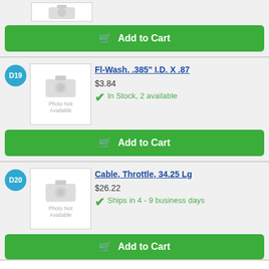[Figure (screenshot): Partial product listing top: thumbnail image placeholder and Add to Cart button]
Add to Cart
D19
[Figure (photo): Photo Not Available placeholder image for Fl-Wash. .385" I.D. X .87]
Fl-Wash. .385" I.D. X .87
$3.84
In Stock, 2 available
Add to Cart
D20
[Figure (photo): Photo Not Available placeholder image for Cable, Throttle, 34.25 Lg]
Cable, Throttle, 34.25 Lg
$26.22
Ships in 4 - 9 business days
Add to Cart